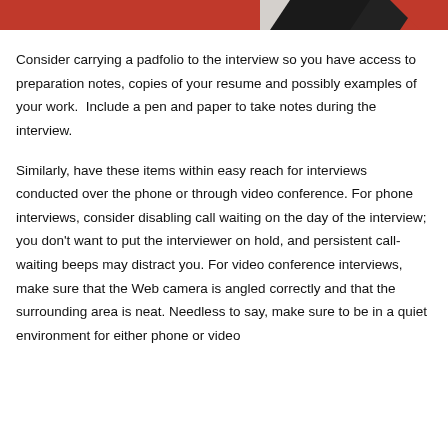[Figure (photo): Top portion of a photo showing red padfolio or notebook items on a white background]
Consider carrying a padfolio to the interview so you have access to preparation notes, copies of your resume and possibly examples of your work.  Include a pen and paper to take notes during the interview.
Similarly, have these items within easy reach for interviews conducted over the phone or through video conference. For phone interviews, consider disabling call waiting on the day of the interview; you don't want to put the interviewer on hold, and persistent call-waiting beeps may distract you. For video conference interviews, make sure that the Web camera is angled correctly and that the surrounding area is neat. Needless to say, make sure to be in a quiet environment for either phone or video